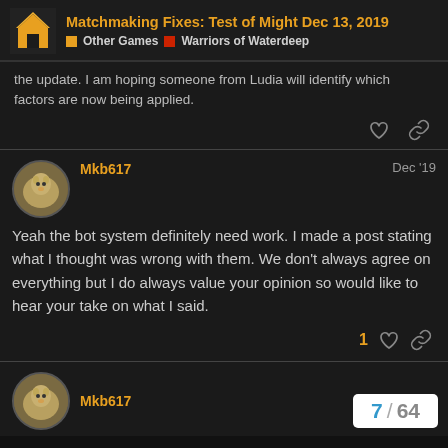Matchmaking Fixes: Test of Might Dec 13, 2019 | Other Games | Warriors of Waterdeep
the update. I am hoping someone from Ludia will identify which factors are now being applied.
Mkb617 · Dec '19 · Yeah the bot system definitely need work. I made a post stating what I thought was wrong with them. We don't always agree on everything but I do always value your opinion so would like to hear your take on what I said.
Mkb617 · Dec '19
7 / 64